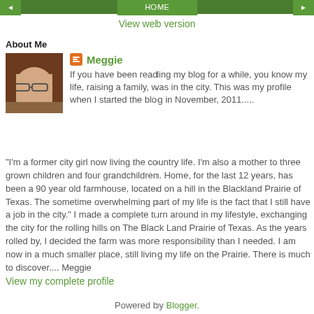◄  HOME  ►
View web version
About Me
[Figure (photo): Profile photo of Meggie, a woman with glasses]
Meggie
If you have been reading my blog for a while, you know my life, raising a family, was in the city. This was my profile when I started the blog in November, 2011.....
"I'm a former city girl now living the country life. I'm also a mother to three grown children and four grandchildren. Home, for the last 12 years, has been a 90 year old farmhouse, located on a hill in the Blackland Prairie of Texas. The sometime overwhelming part of my life is the fact that I still have a job in the city." I made a complete turn around in my lifestyle, exchanging the city for the rolling hills on The Black Land Prairie of Texas. As the years rolled by, I decided the farm was more responsibility than I needed. I am now in a much smaller place, still living my life on the Prairie. There is much to discover.... Meggie
View my complete profile
Powered by Blogger.